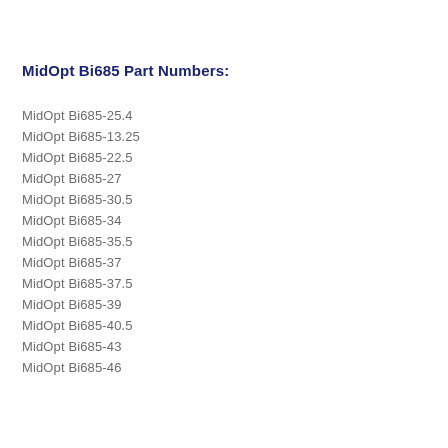MidOpt Bi685 Part Numbers:
MidOpt Bi685-25.4
MidOpt Bi685-13.25
MidOpt Bi685-22.5
MidOpt Bi685-27
MidOpt Bi685-30.5
MidOpt Bi685-34
MidOpt Bi685-35.5
MidOpt Bi685-37
MidOpt Bi685-37.5
MidOpt Bi685-39
MidOpt Bi685-40.5
MidOpt Bi685-43
MidOpt Bi685-46